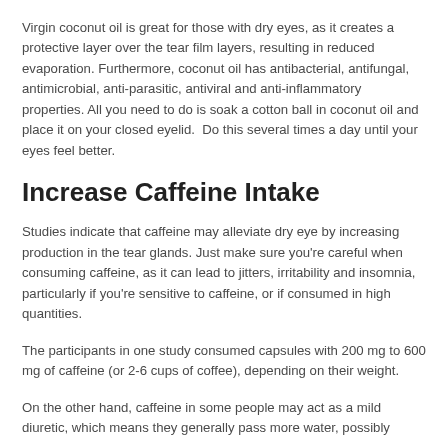Virgin coconut oil is great for those with dry eyes, as it creates a protective layer over the tear film layers, resulting in reduced evaporation. Furthermore, coconut oil has antibacterial, antifungal, antimicrobial, anti-parasitic, antiviral and anti-inflammatory properties. All you need to do is soak a cotton ball in coconut oil and place it on your closed eyelid.  Do this several times a day until your eyes feel better.
Increase Caffeine Intake
Studies indicate that caffeine may alleviate dry eye by increasing production in the tear glands. Just make sure you're careful when consuming caffeine, as it can lead to jitters, irritability and insomnia, particularly if you're sensitive to caffeine, or if consumed in high quantities.
The participants in one study consumed capsules with 200 mg to 600 mg of caffeine (or 2-6 cups of coffee), depending on their weight.
On the other hand, caffeine in some people may act as a mild diuretic, which means they generally pass more water, possibly